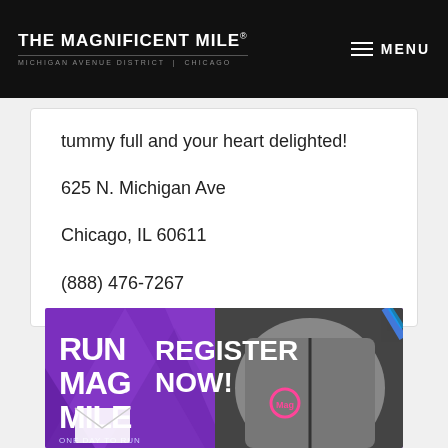THE MAGNIFICENT MILE® MICHIGAN AVENUE DISTRICT | CHICAGO   MENU
tummy full and your heart delighted!
625 N. Michigan Ave
Chicago, IL 60611
(888) 476-7267
[Figure (infographic): Run Mag Mile - Register Now! One Day to Run advertisement banner with athletic jackets]